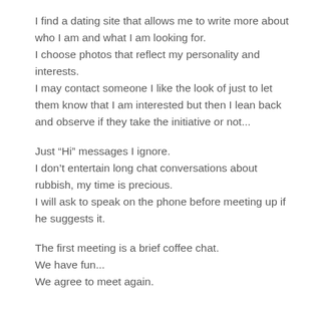I find a dating site that allows me to write more about who I am and what I am looking for.
I choose photos that reflect my personality and interests.
I may contact someone I like the look of just to let them know that I am interested but then I lean back and observe if they take the initiative or not...
Just “Hi” messages I ignore.
I don’t entertain long chat conversations about rubbish, my time is precious.
I will ask to speak on the phone before meeting up if he suggests it.
The first meeting is a brief coffee chat.
We have fun...
We agree to meet again.